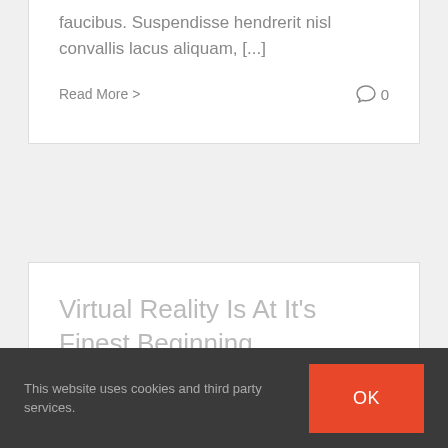faucibus. Suspendisse hendrerit nisl convallis lacus aliquam, [...]
Read More >
0
Virtual Reality Is At It's Finest Beginning
By frostbittadmin | July 20th, 2016 | News
Quisque cursus diam id justo malesuada
This website uses cookies and third party services.
OK